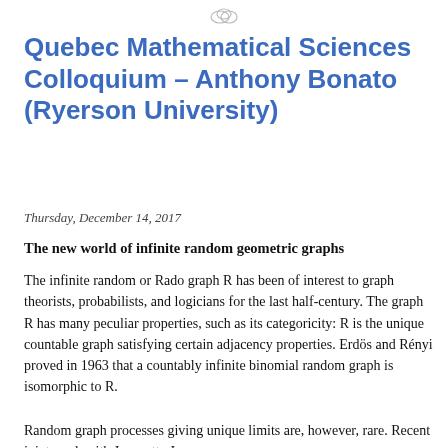[Figure (logo): Small cloud-like icon at top center of page]
Quebec Mathematical Sciences Colloquium - Anthony Bonato (Ryerson University)
Thursday, December 14, 2017
The new world of infinite random geometric graphs
The infinite random or Rado graph R has been of interest to graph theorists, probabilists, and logicians for the last half-century. The graph R has many peculiar properties, such as its categoricity: R is the unique countable graph satisfying certain adjacency properties. Erdös and Rényi proved in 1963 that a countably infinite binomial random graph is isomorphic to R.
Random graph processes giving unique limits are, however, rare. Recent joint work with Jeannette Janssen